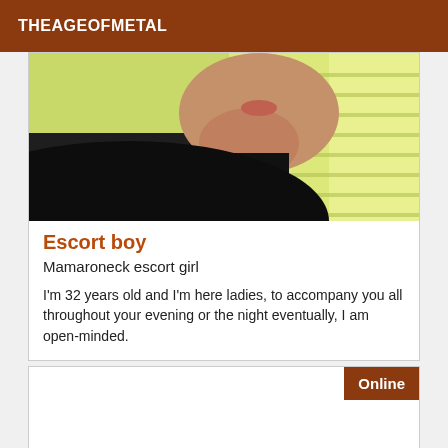THEAGEOFMETAL
[Figure (photo): Close-up photo of a person's chin/jaw area in profile, wearing a dark jacket, with a bright green background (window blinds)]
Escort boy
Mamaroneck escort girl
I'm 32 years old and I'm here ladies, to accompany you all throughout your evening or the night eventually, I am open-minded.
Online